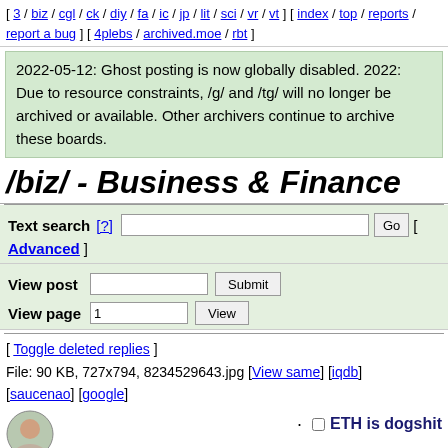[ 3 / biz / cgl / ck / diy / fa / ic / jp / lit / sci / vr / vt ] [ index / top / reports / report a bug ] [ 4plebs / archived.moe / rbt ]
2022-05-12: Ghost posting is now globally disabled. 2022: Due to resource constraints, /g/ and /tg/ will no longer be archived or available. Other archivers continue to archive these boards.
/biz/ - Business & Finance
Text search [?]  Go  [ Advanced ]
View post  Submit
View page  1  View
[ Toggle deleted replies ]
File: 90 KB, 727x794, 8234529643.jpg [View same] [iqdb] [saucenao] [google]
ETH is dogshit